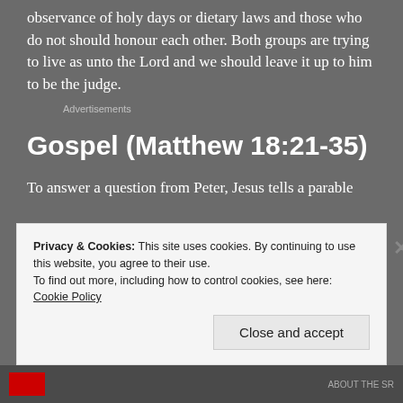observance of holy days or dietary laws and those who do not should honour each other. Both groups are trying to live as unto the Lord and we should leave it up to him to be the judge.
Advertisements
Gospel (Matthew 18:21-35)
To answer a question from Peter, Jesus tells a parable
Privacy & Cookies: This site uses cookies. By continuing to use this website, you agree to their use.
To find out more, including how to control cookies, see here: Cookie Policy
Close and accept